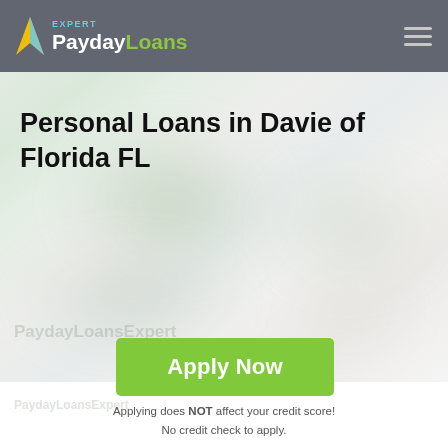[Figure (logo): PaydayLoans Expert logo with arrow icon, white and green text on dark grey header bar]
[Figure (photo): Blurred outdoor background hero image, light green/white tones]
Personal Loans in Davie of Florida FL
Apply Now
Applying does NOT affect your credit score! No credit check to apply.